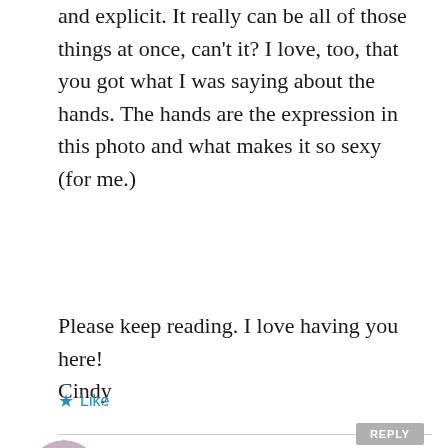and explicit. It really can be all of those things at once, can't it? I love, too, that you got what I was saying about the hands. The hands are the expression in this photo and what makes it so sexy (for me.)
Please keep reading. I love having you here!
Cindy
★ Like
REPLY
[Figure (photo): Circular avatar photo showing partial face/skin tones in blues, pinks and peach]
fivereflections